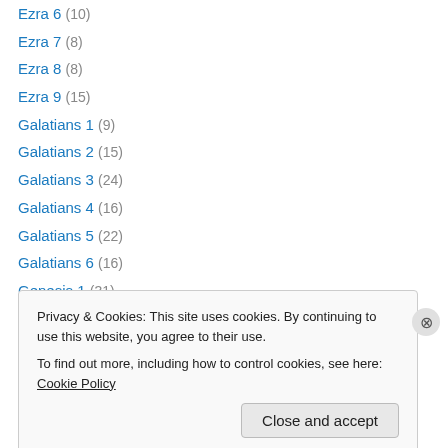Ezra 6 (10)
Ezra 7 (8)
Ezra 8 (8)
Ezra 9 (15)
Galatians 1 (9)
Galatians 2 (15)
Galatians 3 (24)
Galatians 4 (16)
Galatians 5 (22)
Galatians 6 (16)
Genesis 1 (31)
Genesis 11 (13)
Genesis 12 (14)
Privacy & Cookies: This site uses cookies. By continuing to use this website, you agree to their use. To find out more, including how to control cookies, see here: Cookie Policy
Close and accept